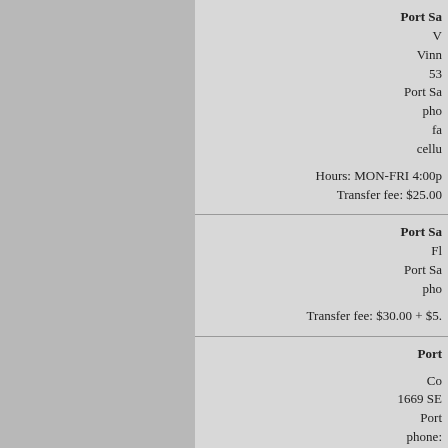Port Sa...
V...
Vinn...
53...
Port Sa...
phone:...
fax:...
cellu...
Hours: MON-FRI 4:00p...
Transfer fee: $25.00...
Port Sa...
Fl...
Port Sa...
phone:...
Transfer fee: $30.00 + $5....
Port ...
Co...
1669 SE...
Port ...
phone:...
fax:...